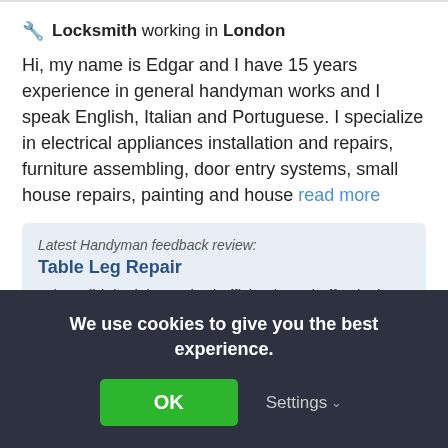🔧 Locksmith working in London
Hi, my name is Edgar and I have 15 years experience in general handyman works and I speak English, Italian and Portuguese. I specialize in electrical appliances installation and repairs, furniture assembling, door entry systems, small house repairs, painting and house read more
Latest Handyman feedback review: Table Leg Repair
Edgar did the job required efficiently and effectively
By georgia29141 on 11th Aug, 2022
We use cookies to give you the best experience.
OK
Settings